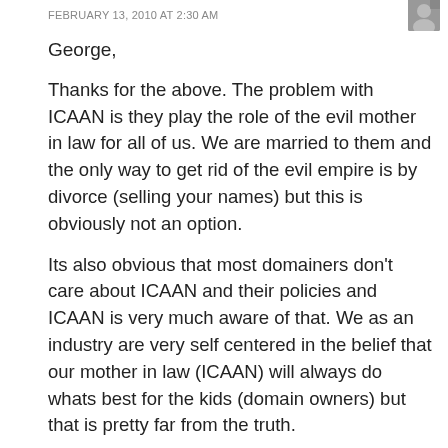FEBRUARY 13, 2010 AT 2:30 AM
George,
Thanks for the above. The problem with ICAAN is they play the role of the evil mother in law for all of us. We are married to them and the only way to get rid of the evil empire is by divorce (selling your names) but this is obviously not an option.
Its also obvious that most domainers don't care about ICAAN and their policies and ICAAN is very much aware of that. We as an industry are very self centered in the belief that our mother in law (ICAAN) will always do whats best for the kids (domain owners) but that is pretty far from the truth.
Its really no different than the level of trust we put in our politicians with the effects very similar (higher taxes, less benefits etc) so how do you propose domainers work together or even independently to become more